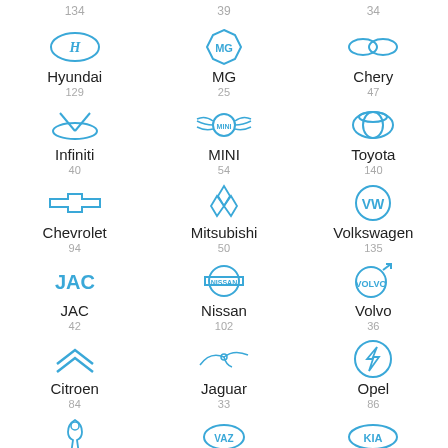[Figure (infographic): Grid of car brand logos with brand names and numbers. Row 1: (top numbers) 134, 39, 34. Row 2: Hyundai 129, MG 25, Chery 47. Row 3: Infiniti 40, MINI 54, Toyota 140. Row 4: Chevrolet 94, Mitsubishi 50, Volkswagen 135. Row 5: JAC 42, Nissan 102, Volvo 36. Row 6: Citroen 84, Jaguar 33, Opel 86. Row 7: Peugeot, VAZ, KIA (partial).]